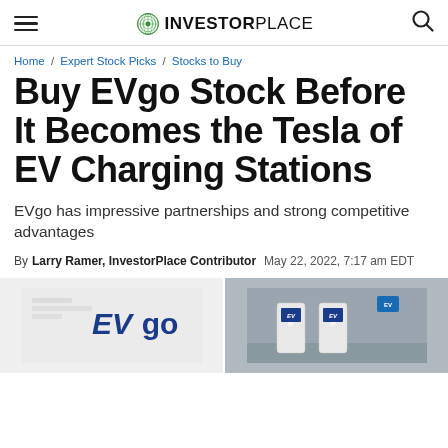INVESTORPLACE
Home / Expert Stock Picks / Stocks to Buy
Buy EVgo Stock Before It Becomes the Tesla of EV Charging Stations
EVgo has impressive partnerships and strong competitive advantages
By Larry Ramer, InvestorPlace Contributor  May 22, 2022, 7:17 am EDT
[Figure (photo): Two EVgo charging station images side by side — left shows EVgo logo on white background, right shows EVgo charging stations in a parking structure]